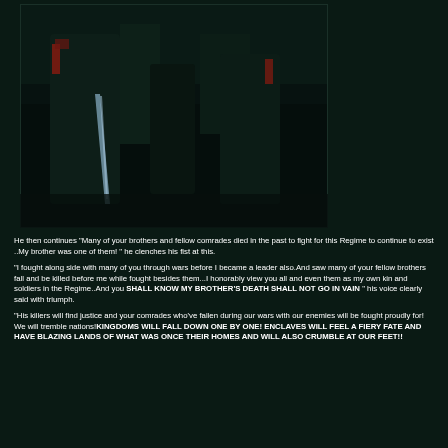[Figure (screenshot): Dark screenshot from a video game showing armored figures in a dimly lit corridor or room. The scene is very dark with silhouettes of characters, some with visible red accents and a faint blue glow in the background.]
He then continues "Many of your brothers and fellow comrades died in the past to fight for this Regime to continue to exist ..My brother was one of them! " he clenches his fist at this.
"I fought along side with many of you through wars before I became a leader also.And saw many of your fellow brothers fall and be killed before me while fought besides them...I honorably view you all and even them as my own kin and soldiers in the Regime..And you SHALL KNOW MY BROTHER'S DEATH SHALL NOT GO IN VAIN " his voice clearly said with triumph.
"His killers will find justice and your comrades who've fallen during our wars with our enemies will be fought proudly for! We will tremble nations!KINGDOMS WILL FALL DOWN ONE BY ONE! ENCLAVES WILL FEEL A FIERY FATE AND HAVE BLAZING LANDS OF WHAT WAS ONCE THEIR HOMES AND WILL ALSO CRUMBLE AT OUR FEET!!